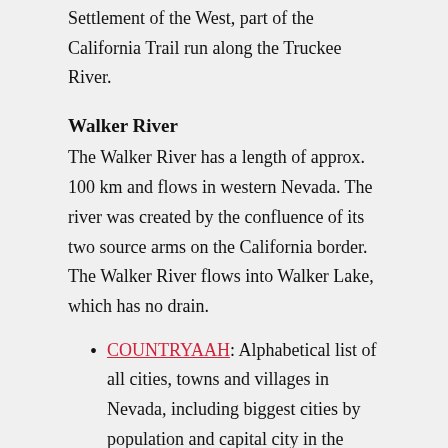Settlement of the West, part of the California Trail run along the Truckee River.
Walker River
The Walker River has a length of approx. 100 km and flows in western Nevada. The river was created by the confluence of its two source arms on the California border. The Walker River flows into Walker Lake, which has no drain.
COUNTRYAAH: Alphabetical list of all cities, towns and villages in Nevada, including biggest cities by population and capital city in the state of Nevada.
[Figure (photo): Photograph partially visible at bottom of page, showing a bird or wildlife figure against a sky background with a bright glow/sun on the left side.]